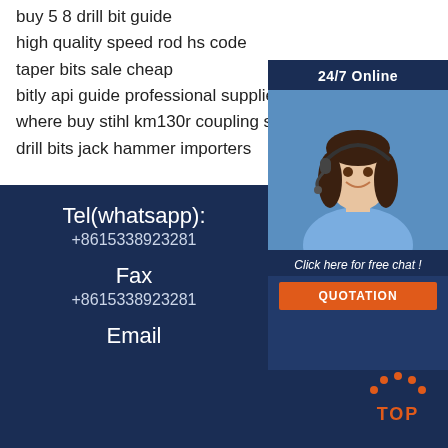buy 5 8 drill bit guide
high quality speed rod hs code
taper bits sale cheap
bitly api guide professional supplier
where buy stihl km130r coupling sle
drill bits jack hammer importers
[Figure (photo): Customer service representative smiling with headset, 24/7 Online chat widget with QUOTATION button]
Tel(whatsapp):
+8615338923281
Fax
+8615338923281
Email
[Figure (illustration): TOP back to top icon with orange dots arc above orange TOP text]